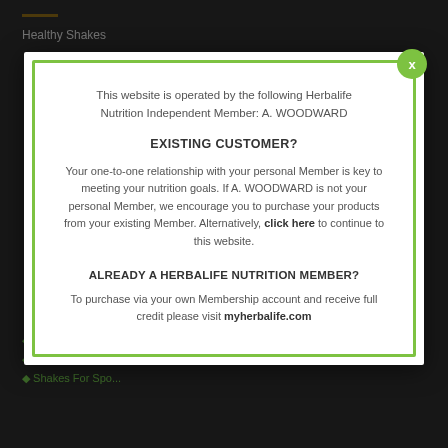Healthy Shakes
This website is operated by the following Herbalife Nutrition Independent Member: A. WOODWARD
EXISTING CUSTOMER?
Your one-to-one relationship with your personal Member is key to meeting your nutrition goals. If A. WOODWARD is not your personal Member, we encourage you to purchase your products from your existing Member. Alternatively, click here to continue to this website.
ALREADY A HERBALIFE NUTRITION MEMBER?
To purchase via your own Membership account and receive full credit please visit myherbalife.com
Meal Replacement Shakes
Protein Shakes
Shakes For Sport